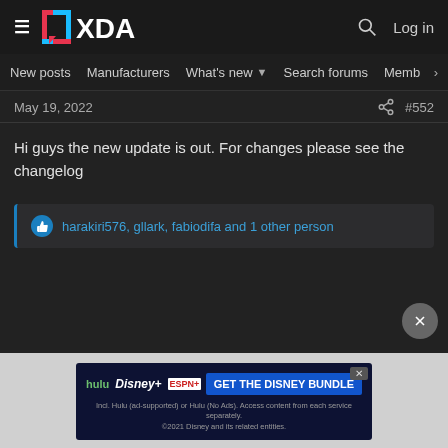XDA — New posts | Manufacturers | What's new | Search forums | Members
May 19, 2022   #552
Hi guys the new update is out. For changes please see the changelog
harakiri576, gllark, fabiodifa and 1 other person
[Figure (screenshot): Disney Bundle advertisement banner: hulu, Disney+, ESPN+ logos with GET THE DISNEY BUNDLE button]
Incl. Hulu (ad-supported) or Hulu (No Ads). Access content from each service separately. ©2021 Disney and its related entities.